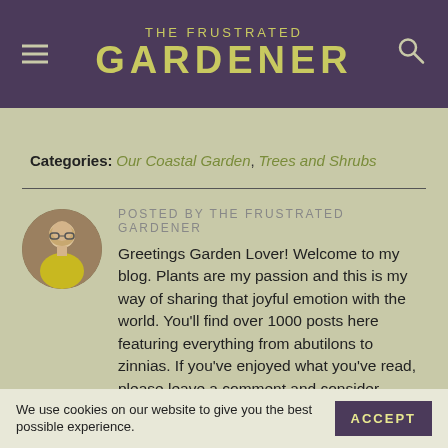THE FRUSTRATED GARDENER
Categories: Our Coastal Garden, Trees and Shrubs
POSTED BY THE FRUSTRATED GARDENER

Greetings Garden Lover! Welcome to my blog. Plants are my passion and this is my way of sharing that joyful emotion with the world. You'll find over 1000 posts here featuring everything from abutilons to zinnias. If you've enjoyed what you've read, please leave a comment and consider subscribing using the
We use cookies on our website to give you the best possible experience.